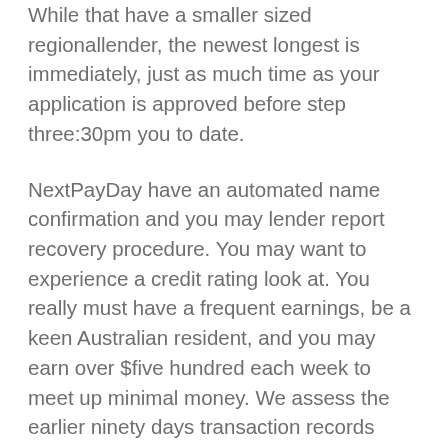While that have a smaller sized regionallender, the newest longest is immediately, just as much time as your application is approved before step three:30pm you to date.
NextPayDay have an automated name confirmation and you may lender report recovery procedure. You may want to experience a credit rating look at. You really must have a frequent earnings, be a keen Australian resident, and you may earn over $five hundred each week to meet up minimal money. We assess the earlier ninety days transaction records from the earnings take into account people non-payments, reversals, almost every other mortgage payments, and you will Centrelink income. NextPayDay doesn't